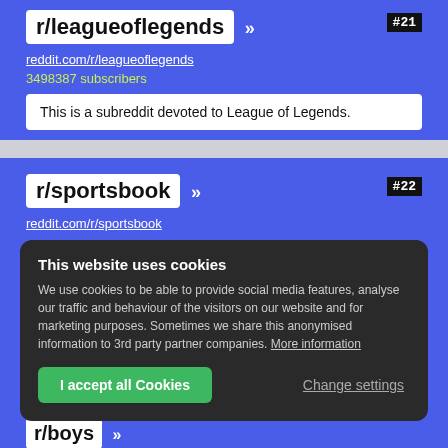r/leagueoflegends »
reddit.com/r/leagueoflegends
3498387 subscribers
This is a subreddit devoted to League of Legends.
r/sportsbook »
reddit.com/r/sportsbook
This website uses cookies
We use cookies to be able to provide social media features, analyse our traffic and behaviour of the visitors on our website and for marketing purposes. Sometimes we share this anonymised information to 3rd party partner companies. More information
I accept all Cookies
Change settings
r/boys »